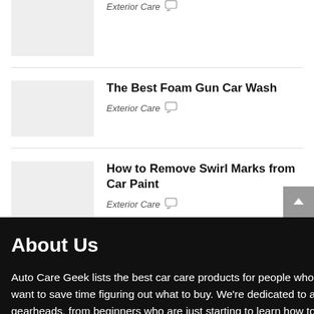The Best Foam Gun Car Wash
Exterior Care
How to Remove Swirl Marks from Car Paint
Exterior Care
About Us
Auto Care Geek lists the best car care products for people who want to save time figuring out what to buy. We're dedicated to all gearheads, from beginners who are just starting to learn how to